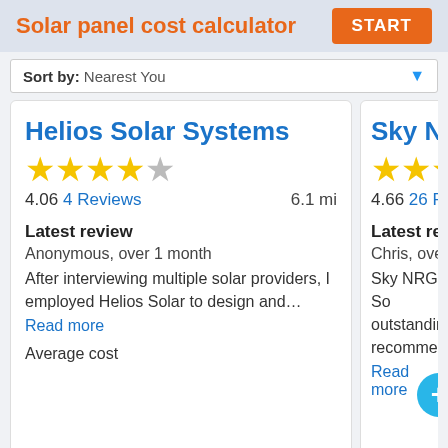Solar panel cost calculator  START
Sort by: Nearest You
Helios Solar Systems
4.06  4 Reviews   6.1 mi
Latest review
Anonymous,  over 1 month
After interviewing multiple solar providers, I employed Helios Solar to design and…
Read more
Average cost
Sky NRG
4.66  26 Rev
Latest revi
Chris,  over
Sky NRG So outstanding recommende
Read more
Average cos